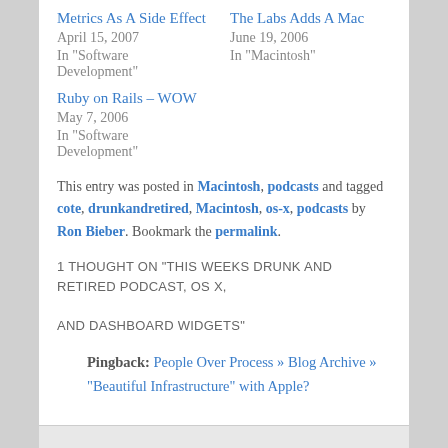Metrics As A Side Effect
April 15, 2007
In "Software Development"
The Labs Adds A Mac
June 19, 2006
In "Macintosh"
Ruby on Rails – WOW
May 7, 2006
In "Software Development"
This entry was posted in Macintosh, podcasts and tagged cote, drunkandretired, Macintosh, os-x, podcasts by Ron Bieber. Bookmark the permalink.
1 THOUGHT ON "THIS WEEKS DRUNK AND RETIRED PODCAST, OS X, AND DASHBOARD WIDGETS"
Pingback: People Over Process » Blog Archive » "Beautiful Infrastructure" with Apple?